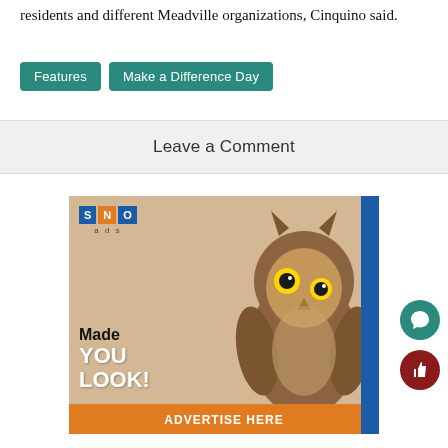residents and different Meadville organizations, Cinquino said.
Features
Make a Difference Day
Leave a Comment
[Figure (advertisement): SNO ads advertisement featuring an owl and text 'Made YOU LOOK!' with 'ADVERTISE HERE' banner at bottom]